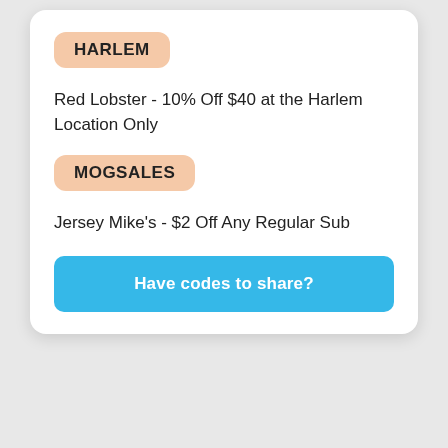HARLEM
Red Lobster - 10% Off $40 at the Harlem Location Only
MOGSALES
Jersey Mike's - $2 Off Any Regular Sub
Have codes to share?